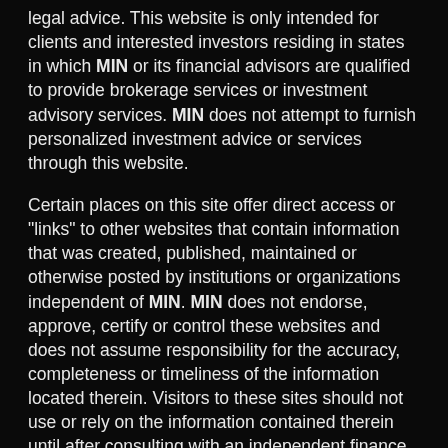legal advice. This website is only intended for clients and interested investors residing in states in which MIN or its financial advisors are qualified to provide brokerage services or investment advisory services. MIN does not attempt to furnish personalized investment advice or services through this website.
Certain places on this site offer direct access or "links" to other websites that contain information that was created, published, maintained or otherwise posted by institutions or organizations independent of MIN. MIN does not endorse, approve, certify or control these websites and does not assume responsibility for the accuracy, completeness or timeliness of the information located therein. Visitors to these sites should not use or rely on the information contained therein until after consulting with an independent finance professional. MIN does not necessarily endorse or recommend any commercial product or service described on these independent sites.
For informational only and is not a recommendation. MIN is